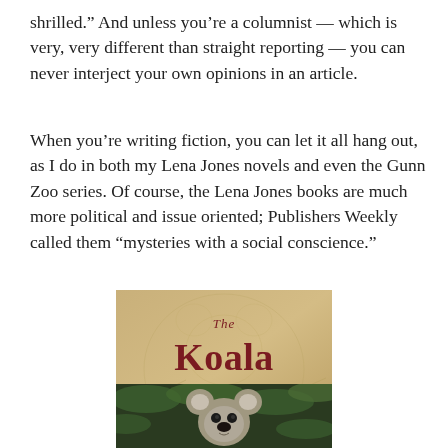shrilled.” And unless you’re a columnist — which is very, very different than straight reporting — you can never interject your own opinions in an article.
When you’re writing fiction, you can let it all hang out, as I do in both my Lena Jones novels and even the Gunn Zoo series. Of course, the Lena Jones books are much more political and issue oriented; Publishers Weekly called them “mysteries with a social conscience.”
[Figure (illustration): Book cover for 'The Koala of Death' with ornate lettering on a tan/gold background with a decorative koala skeleton motif, followed below by a photo of a real koala among green leaves.]